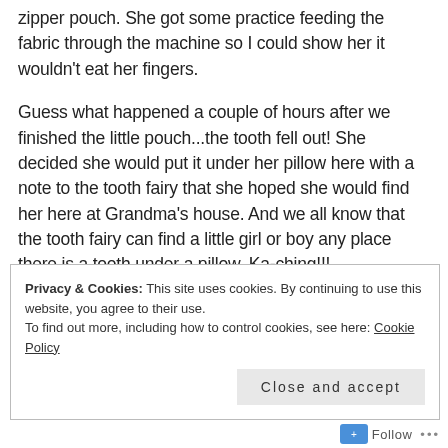zipper pouch. She got some practice feeding the fabric through the machine so I could show her it wouldn't eat her fingers.
Guess what happened a couple of hours after we finished the little pouch...the tooth fell out!  She decided she would put it under her pillow here with a note to the tooth fairy  that she hoped she would find her here at Grandma's house.  And we all know that the tooth fairy can find a little girl or boy any place there is a tooth under a pillow. Ka-ching!!!
Privacy & Cookies: This site uses cookies. By continuing to use this website, you agree to their use.
To find out more, including how to control cookies, see here: Cookie Policy
Close and accept